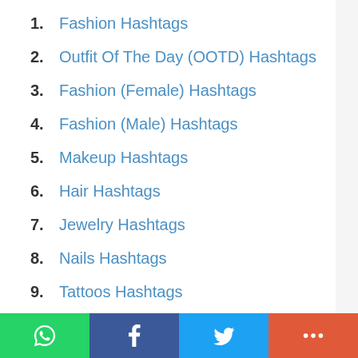1. Fashion Hashtags
2. Outfit Of The Day (OOTD) Hashtags
3. Fashion (Female) Hashtags
4. Fashion (Male) Hashtags
5. Makeup Hashtags
6. Hair Hashtags
7. Jewelry Hashtags
8. Nails Hashtags
9. Tattoos Hashtags
10. Bracelets Hashtags
11. Earrings Hashtags
12. High Heels Hashtags
13. Speakers / Kicks Hashtags